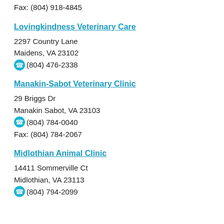Fax: (804) 918-4845
Lovingkindness Veterinary Care
2297 Country Lane
Maidens, VA 23102
(804) 476-2338
Manakin-Sabot Veterinary Clinic
29 Briggs Dr
Manakin Sabot, VA 23103
(804) 784-0040
Fax: (804) 784-2067
Midlothian Animal Clinic
14411 Sommerville Ct
Midlothian, VA 23113
(804) 794-2099